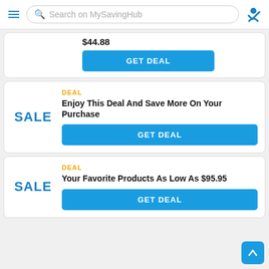Search on MySavingHub
$44.88
GET DEAL
DEAL
Enjoy This Deal And Save More On Your Purchase
GET DEAL
DEAL
Your Favorite Products As Low As $95.95
GET DEAL